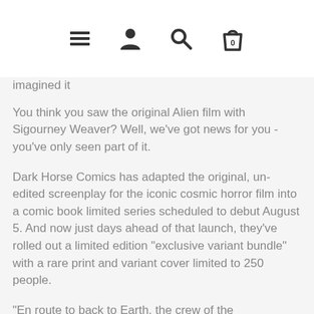[navigation icons: menu, user, search, cart (0)]
imagined it
You think you saw the original Alien film with Sigourney Weaver? Well, we've got news for you - you've only seen part of it.
Dark Horse Comics has adapted the original, un-edited screenplay for the iconic cosmic horror film into a comic book limited series scheduled to debut August 5. And now just days ahead of that launch, they've rolled out a limited edition "exclusive variant bundle" with a rare print and variant cover limited to 250 people.
"En route to back to Earth, the crew of the